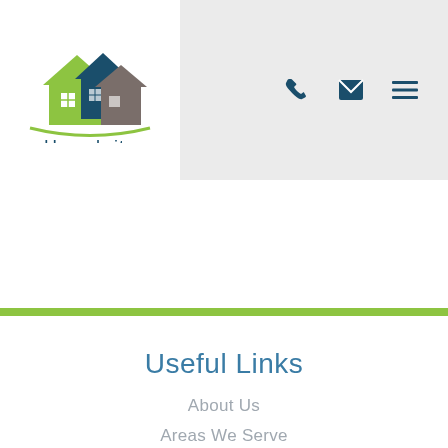[Figure (logo): Homebrite logo with three house icons (green, dark blue, brown/gray) and text 'Homebrite' below]
[Figure (other): Navigation icons: phone, envelope/email, hamburger menu on gray background]
Useful Links
About Us
Areas We Serve